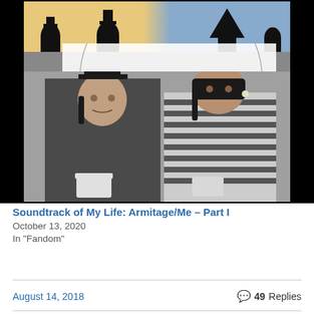[Figure (photo): Black and white album cover photo of Kate & Anna McGarrigle 'Love Over and Over', showing two people, one wearing a top hat holding a cup, the other in a striped top, with silhouettes at the top against a colored background.]
Soundtrack of My Life: Armitage/Me – Part I
October 13, 2020
In "Fandom"
August 14, 2018
49 Replies